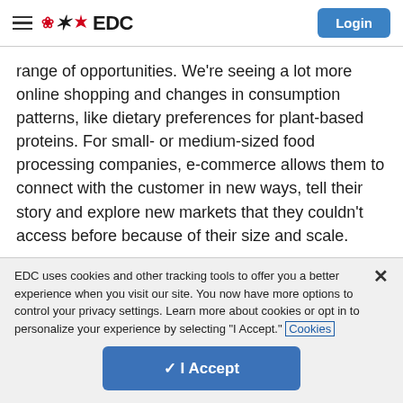EDC | Login
range of opportunities. We're seeing a lot more online shopping and changes in consumption patterns, like dietary preferences for plant-based proteins. For small- or medium-sized food processing companies, e-commerce allows them to connect with the customer in new ways, tell their story and explore new markets that they couldn't access before because of their size and scale.
EDC uses cookies and other tracking tools to offer you a better experience when you visit our site. You now have more options to control your privacy settings. Learn more about cookies or opt in to personalize your experience by selecting "I Accept." Cookies
✓ I Accept